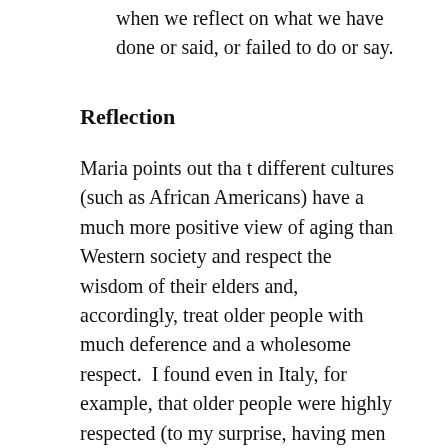when we reflect on what we have done or said, or failed to do or say.
Reflection
Maria points out tha t different cultures (such as African Americans) have a much more positive view of aging than Western society and respect the wisdom of their elders and, accordingly, treat older people with much deference and a wholesome respect.  I found even in Italy, for example, that older people were highly respected (to my surprise, having men and women of all ages offering their seat to me on a tram, even when they were sitting further away from me on the tram – I was in